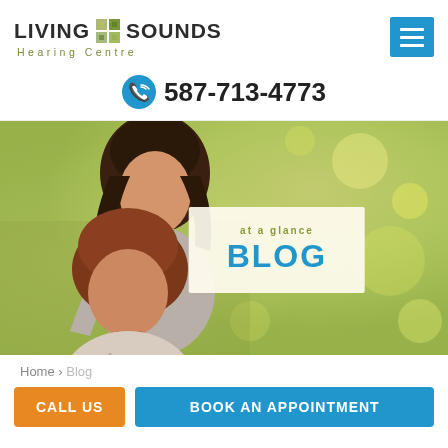LIVING SOUNDS Hearing Centre — navigation header with phone 587-713-4773
[Figure (photo): Two smiling women outdoors with blurred green/yellow bokeh background, with a 'BLOG' overlay box in the center-right area]
Home › Blog
CALL US | BOOK AN APPOINTMENT